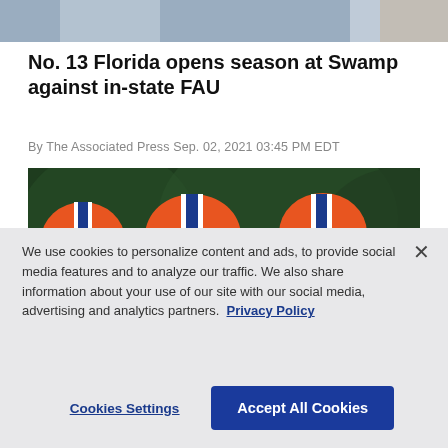[Figure (photo): Partial top photo, cropped, showing background scene]
No. 13 Florida opens season at Swamp against in-state FAU
By The Associated Press Sep. 02, 2021 03:45 PM EDT
[Figure (photo): Florida Gators football players in orange helmets with a coach wearing a blue cap and sunglasses speaking to them]
We use cookies to personalize content and ads, to provide social media features and to analyze our traffic. We also share information about your use of our site with our social media, advertising and analytics partners. Privacy Policy
Cookies Settings  Accept All Cookies